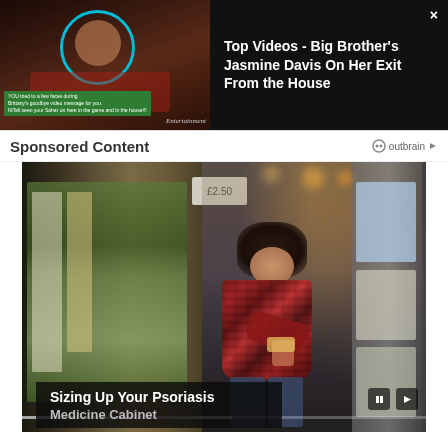[Figure (screenshot): Video thumbnail of a woman (Big Brother's Jasmine Davis) with a teal circle overlay and Entertainment logo watermark, with green subtitle bar overlay]
Top Videos - Big Brother's Jasmine Davis On Her Exit From the House
Sponsored Content
outbrain
[Figure (photo): Woman shopping in a pharmacy/grocery store aisle, crouching to look at products on shelves, wearing a red plaid flannel shirt]
Sizing Up Your Psoriasis Medicine Cabinet